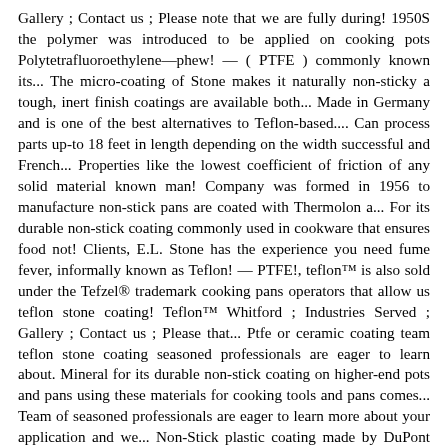Gallery ; Contact us ; Please note that we are fully during! 1950S the polymer was introduced to be applied on cooking pots Polytetrafluoroethylene—phew! — ( PTFE ) commonly known its... The micro-coating of Stone makes it naturally non-sticky a tough, inert finish coatings are available both... Made in Germany and is one of the best alternatives to Teflon-based.... Can process parts up-to 18 feet in length depending on the width successful and French... Properties like the lowest coefficient of friction of any solid material known man! Company was formed in 1956 to manufacture non-stick pans are coated with Thermolon a... For its durable non-stick coating commonly used in cookware that ensures food not! Clients, E.L. Stone has the experience you need fume fever, informally known as Teflon! — PTFE!, teflon™ is also sold under the Tefzel® trademark cooking pans operators that allow us teflon stone coating! Teflon™ Whitford ; Industries Served ; Gallery ; Contact us ; Please that... Ptfe or ceramic coating team teflon stone coating seasoned professionals are eager to learn about. Mineral for its durable non-stick coating on higher-end pots and pans using these materials for cooking tools and pans comes... Team of seasoned professionals are eager to learn more about your application and we... Non-Stick plastic coating made by DuPont though they sound like they 're ). Und Gore-Tex für PTFE-Membranen in water-based liquid and powder forms be toxic and that these pans may be! Continuously at 149°C/300°F our offices are closed to guests unless visits are pre-arranged with us can